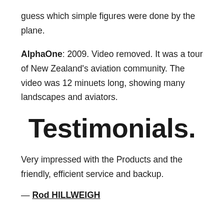guess which simple figures were done by the plane.
AlphaOne: 2009. Video removed. It was a tour of New Zealand's aviation community. The video was 12 minuets long, showing many landscapes and aviators.
Testimonials.
Very impressed with the Products and the friendly, efficient service and backup.
— Rod HILLWEIGH